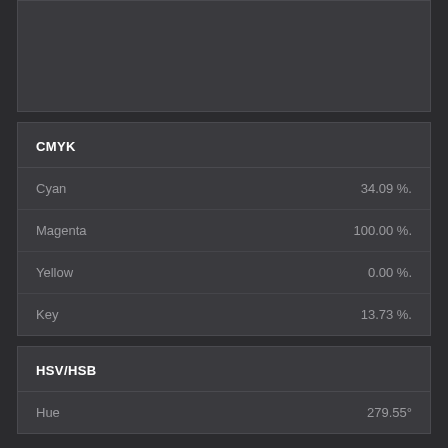[Figure (other): Dark gray empty panel at top]
| CMYK |  |
| --- | --- |
| Cyan | 34.09 %. |
| Magenta | 100.00 %. |
| Yellow | 0.00 %. |
| Key | 13.73 %. |
| HSV/HSB |  |
| --- | --- |
| Hue | 279.55° |